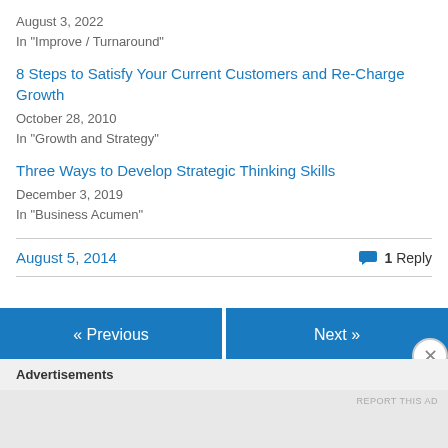August 3, 2022
In "Improve / Turnaround"
8 Steps to Satisfy Your Current Customers and Re-Charge Growth
October 28, 2010
In "Growth and Strategy"
Three Ways to Develop Strategic Thinking Skills
December 3, 2019
In "Business Acumen"
August 5, 2014
1 Reply
« Previous
Next »
Advertisements